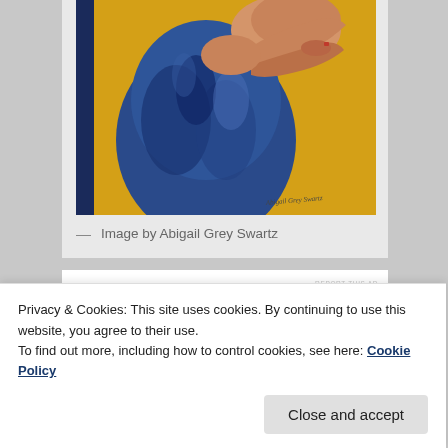[Figure (illustration): A painting showing a figure in blue clothing with arms crossed against a yellow background. Artist signature visible at bottom right: Abigail Grey Swartz.]
— Image by Abigail Grey Swartz
REPORT THIS AD
Privacy & Cookies: This site uses cookies. By continuing to use this website, you agree to their use.
To find out more, including how to control cookies, see here: Cookie Policy
Close and accept